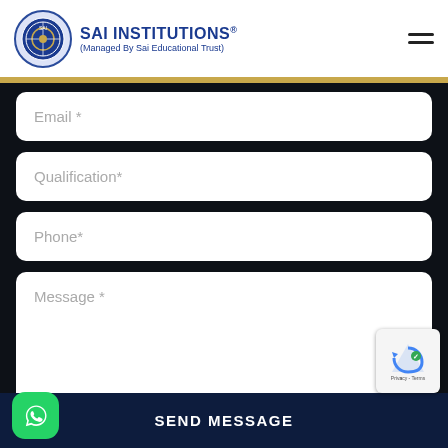SAI INSTITUTIONS® (Managed By Sai Educational Trust)
Email *
Qualification*
Phone*
Message *
SEND MESSAGE